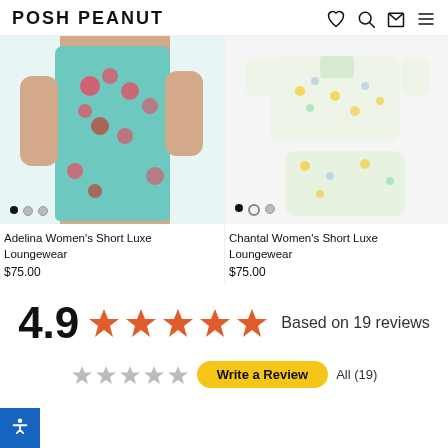POSH PEANUT
[Figure (photo): Product photo of Adelina Women's Short Luxe Loungewear - teal floral romper shorts set worn by model]
[Figure (photo): Product photo of Chantal Women's Short Luxe Loungewear - cream floral short pajama set laid flat]
Adelina Women's Short Luxe Loungewear
$75.00
Chantal Women's Short Luxe Loungewear
$75.00
4.9 ★★★★★ Based on 19 reviews
[Figure (other): Star rating row with small stars and yellow button at bottom of page]